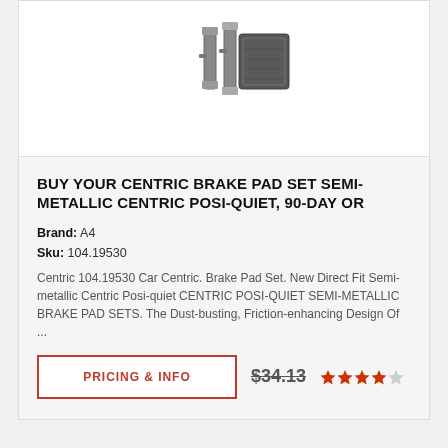[Figure (photo): Brake pad set product image showing metallic brake pads and hardware clips on white background]
BUY YOUR CENTRIC BRAKE PAD SET SEMI-METALLIC CENTRIC POSI-QUIET, 90-DAY OR
Brand: A4
Sku: 104.19530
Centric 104.19530 Car Centric. Brake Pad Set. New Direct Fit Semi-metallic Centric Posi-quiet CENTRIC POSI-QUIET SEMI-METALLIC BRAKE PAD SETS. The Dust-busting, Friction-enhancing Design Of ...
PRICING & INFO
$34.13